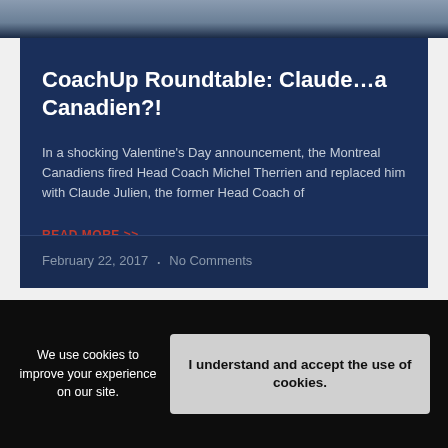[Figure (photo): Top portion of a sports/hockey image, dark blue and grey tones]
CoachUp Roundtable: Claude...a Canadien?!
In a shocking Valentine's Day announcement, the Montreal Canadiens fired Head Coach Michel Therrien and replaced him with Claude Julien, the former Head Coach of
READ MORE >>
February 22, 2017 • No Comments
We use cookies to improve your experience on our site.
I understand and accept the use of cookies.